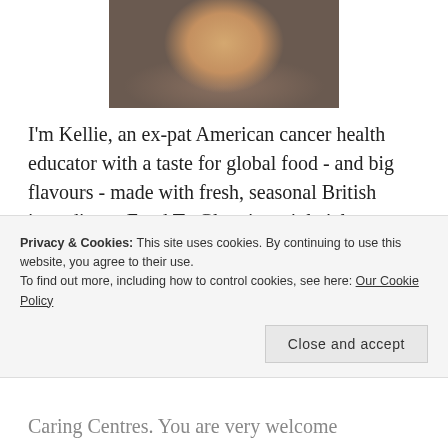[Figure (photo): Partial photo of a woman with blonde hair, cropped at top of page]
I'm Kellie, an ex-pat American cancer health educator with a taste for global food - and big flavours - made with fresh, seasonal British ingredients. Food To Glow is mainly 'plant-based', but you will find the occasional decadent treat - usually with a healthy tweak. Although I'm an omnivore, I speak fluent vegan: most of my non-vegan recipes will have
Privacy & Cookies: This site uses cookies. By continuing to use this website, you agree to their use.
To find out more, including how to control cookies, see here: Our Cookie Policy
Close and accept
Caring Centres. You are very welcome